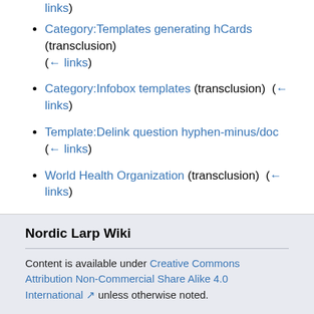← links)
Category:Templates generating hCards (transclusion) (← links)
Category:Infobox templates (transclusion) (← links)
Template:Delink question hyphen-minus/doc (← links)
World Health Organization (transclusion) (← links)
View (previous 50 | next 50) (20 | 50 | 100 | 250 | 500)
Nordic Larp Wiki
Content is available under Creative Commons Attribution Non-Commercial Share Alike 4.0 International unless otherwise noted.